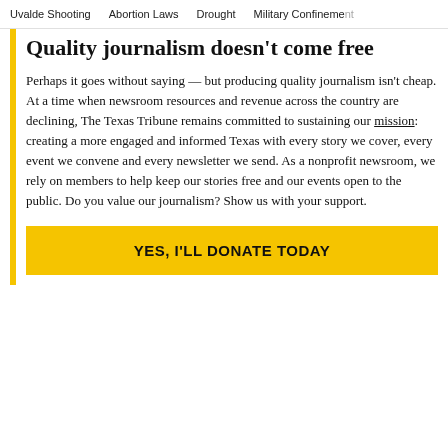Uvalde Shooting   Abortion Laws   Drought   Military Confinement
Quality journalism doesn't come free
Perhaps it goes without saying — but producing quality journalism isn't cheap. At a time when newsroom resources and revenue across the country are declining, The Texas Tribune remains committed to sustaining our mission: creating a more engaged and informed Texas with every story we cover, every event we convene and every newsletter we send. As a nonprofit newsroom, we rely on members to help keep our stories free and our events open to the public. Do you value our journalism? Show us with your support.
YES, I'LL DONATE TODAY